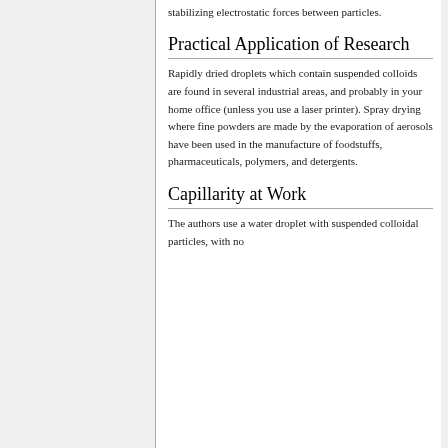stabilizing electrostatic forces between particles.
Practical Application of Research
Rapidly dried droplets which contain suspended colloids are found in several industrial areas, and probably in your home office (unless you use a laser printer). Spray drying where fine powders are made by the evaporation of aerosols have been used in the manufacture of foodstuffs, pharmaceuticals, polymers, and detergents.
Capillarity at Work
The authors use a water droplet with suspended colloidal particles, with no